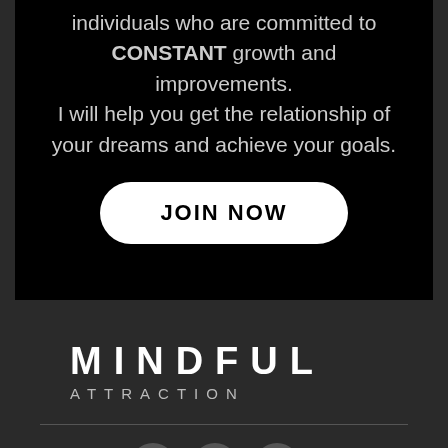individuals who are committed to CONSTANT growth and improvements. I will help you get the relationship of your dreams and achieve your goals.
JOIN NOW
[Figure (logo): Mindful Attraction logo with large bold MINDFUL text and smaller ATTRACTION text below]
[Figure (other): Social media icons: Twitter, YouTube, Instagram in grey circles]
Menu